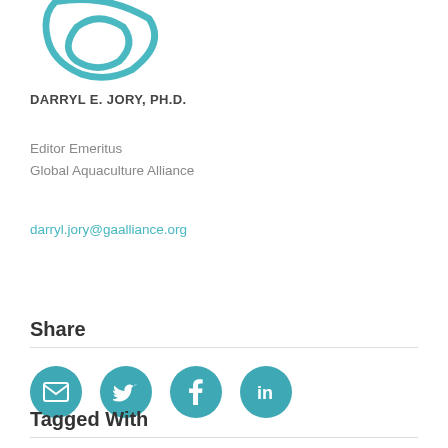[Figure (logo): Teal colored logo/icon partial view at top left, showing curved lines forming a symbol]
DARRYL E. JORY, PH.D.
Editor Emeritus
Global Aquaculture Alliance
darryl.jory@gaalliance.org
Share
[Figure (infographic): Four teal circular social media icons: email (envelope), Twitter (bird), Facebook (f), LinkedIn (in)]
Tagged With